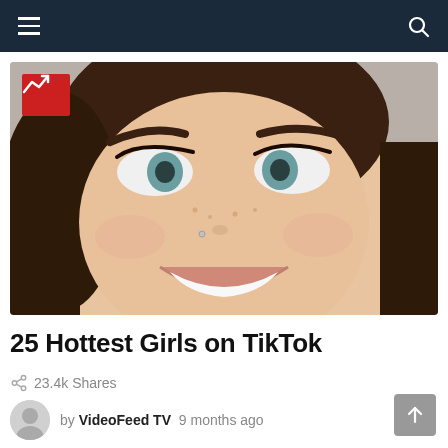Navigation bar with hamburger menu and search icon
[Figure (photo): Close-up selfie of a young woman with dark hair, green eyes, heavy mascara, freckles, nose piercing, and a big smile. Red trending badge with upward arrow in top-left corner of image.]
25 Hottest Girls on TikTok
23.4k Shares
by VideoFeed TV  9 months ago